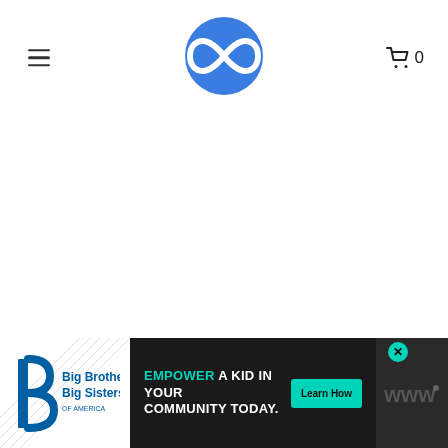Navigation header with hamburger menu, circular blue infinity logo, and cart icon showing 0
[Figure (logo): Blue circular logo with white infinity/loop symbol (two overlapping circles forming figure-8/infinity shape)]
[Figure (infographic): Advertisement banner: Big Brothers Big Sisters of America logo on left, dark background center with teal 'EMPOWER' text and 'A KID IN YOUR COMMUNITY TODAY.' headline, teal 'Learn How' button, close X button, and right side dark logo area with stylized 'w' marks]